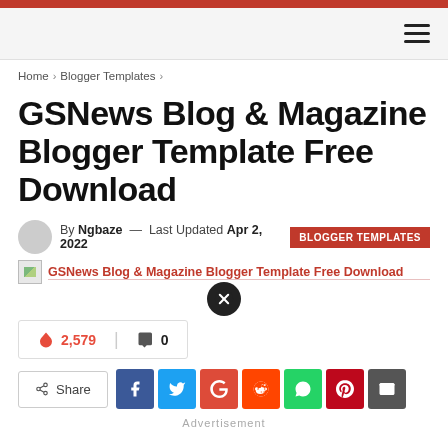Home › Blogger Templates ›
GSNews Blog & Magazine Blogger Template Free Download
By Ngbaze — Last Updated Apr 2, 2022  BLOGGER TEMPLATES
GSNews Blog & Magazine Blogger Template Free Download
2,579  0
Share  [Facebook] [Twitter] [Google+] [Reddit] [WhatsApp] [Pinterest] [Email]
Advertisement